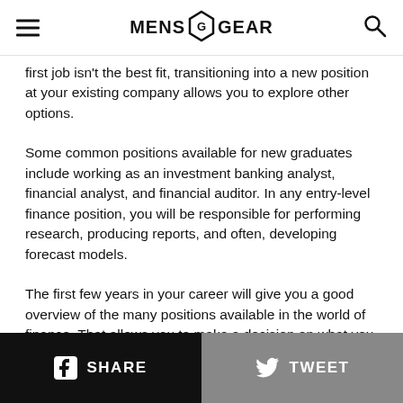MENS GEAR
first job isn't the best fit, transitioning into a new position at your existing company allows you to explore other options.
Some common positions available for new graduates include working as an investment banking analyst, financial analyst, and financial auditor. In any entry-level finance position, you will be responsible for performing research, producing reports, and often, developing forecast models.
The first few years in your career will give you a good overview of the many positions available in the world of finance. That allows you to make a decision on what you find most interesting and how you want to direct your career.
SHARE   TWEET